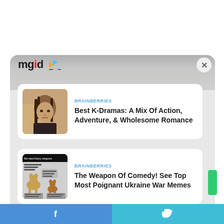[Figure (logo): MGID logo with colorful play button icon]
[Figure (photo): Thumbnail of Asian woman with dark hair looking distressed]
BRAINBERRIES
Best K-Dramas: A Mix Of Action, Adventure, & Wholesome Romance
[Figure (photo): Thumbnail of Ukraine war meme with dogs]
BRAINBERRIES
The Weapon Of Comedy! See Top Most Poignant Ukraine War Memes